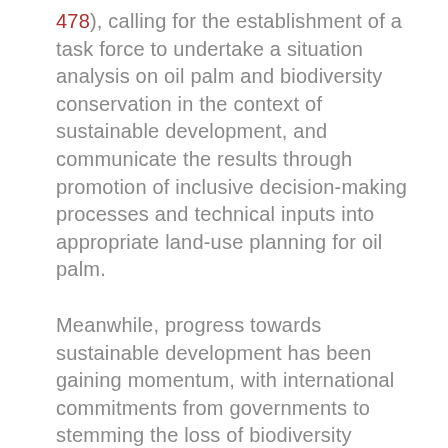478), calling for the establishment of a task force to undertake a situation analysis on oil palm and biodiversity conservation in the context of sustainable development, and communicate the results through promotion of inclusive decision-making processes and technical inputs into appropriate land-use planning for oil palm.
Meanwhile, progress towards sustainable development has been gaining momentum, with international commitments from governments to stemming the loss of biodiversity through the adoption of the Strategic Plan for Biodiversity 2011–2020, including the Aichi Biodiversity Targets, and, more broadly, the United Nations 2030 Agenda for Sustainable Development